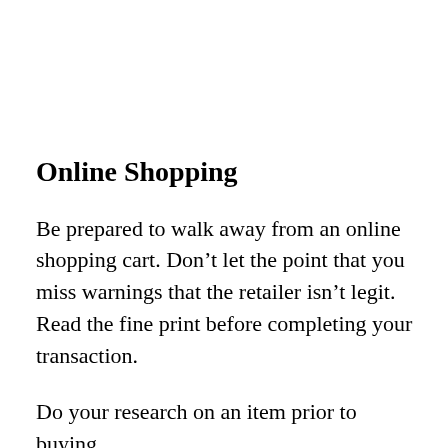Online Shopping
Be prepared to walk away from an online shopping cart. Don’t let the point that you miss warnings that the retailer isn’t legit. Read the fine print before completing your transaction.
Do your research on an item prior to buying